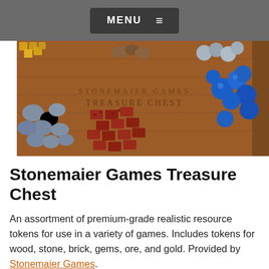MENU
[Figure (photo): Stonemaier Games Treasure Chest product photo showing various premium resource tokens: gold cubes, wooden cylinders, grey stone pieces, red brick tiles, and blue glass gems arranged on a wooden board engraved with 'STONEMAIER GAMES TREASURE CHEST']
Stonemaier Games Treasure Chest
An assortment of premium-grade realistic resource tokens for use in a variety of games. Includes tokens for wood, stone, brick, gems, ore, and gold. Provided by Stonemaier Games.
[Figure (photo): Partial view of a board game box, partially cropped at the bottom of the page]